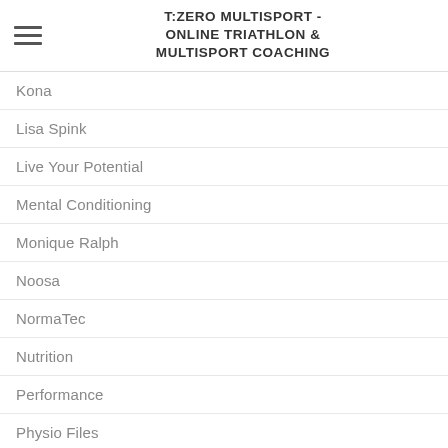T:ZERO MULTISPORT - ONLINE TRIATHLON & MULTISPORT COACHING
Kona
Lisa Spink
Live Your Potential
Mental Conditioning
Monique Ralph
Noosa
NormaTec
Nutrition
Performance
Physio Files
RACE PREVIEW
Race Report
Racing
Recovery
Richard Thompson
Running
Scotty Farrell